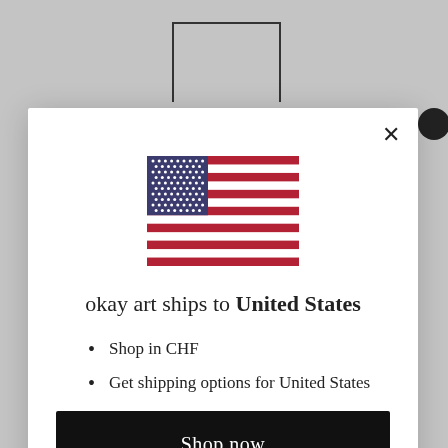[Figure (illustration): US flag SVG illustration centered in modal]
okay art ships to United States
Shop in CHF
Get shipping options for United States
Shop now
Change shipping country
CHF 520.00
CHF 820.00